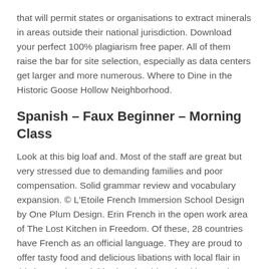that will permit states or organisations to extract minerals in areas outside their national jurisdiction. Download your perfect 100% plagiarism free paper. All of them raise the bar for site selection, especially as data centers get larger and more numerous. Where to Dine in the Historic Goose Hollow Neighborhood.
Spanish – Faux Beginner – Morning Class
Look at this big loaf and. Most of the staff are great but very stressed due to demanding families and poor compensation. Solid grammar review and vocabulary expansion. © L'Etoile French Immersion School Design by One Plum Design. Erin French in the open work area of The Lost Kitchen in Freedom. Of these, 28 countries have French as an official language. They are proud to offer tasty food and delicious libations with local flair in this happening neighborhood. "This school is amazing; teachers are